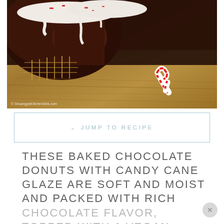[Figure (photo): Close-up photo of baked chocolate donuts with white candy cane glaze on a cooling rack, with a mini candy cane on a wooden surface. Watermark reads '© ShuangyisKitchenSink.com']
JUMP TO RECIPE
THESE BAKED CHOCOLATE DONUTS WITH CANDY CANE GLAZE ARE SOFT AND MOIST AND PACKED WITH RICH CHOCOLATE FLAVOR, TOPPED WITH A VEGAN PEPPERMINT GLAZE AND SPRINKLED WITH CRUSHED CANDY...